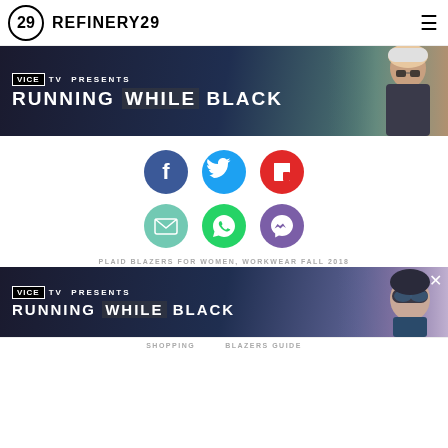REFINERY29
[Figure (photo): VICE TV PRESENTS RUNNING WHILE BLACK advertisement banner with person in background]
[Figure (infographic): Social share icons: Facebook (blue), Twitter (cyan), Flipboard (red), Email (teal), WhatsApp (green), Messenger (purple)]
PLAID BLAZERS FOR WOMEN, WORKWEAR FALL 2018
[Figure (photo): VICE TV PRESENTS RUNNING WHILE BLACK advertisement banner with person in ski goggles]
SHOPPING    BLAZERS GUIDE